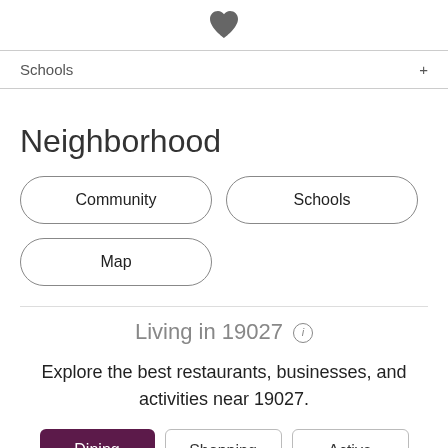[Figure (illustration): Dark gray filled heart icon centered at top of page]
Schools +
Neighborhood
Community
Schools
Map
Living in 19027 ℹ
Explore the best restaurants, businesses, and activities near 19027.
Dining
Shopping
Active